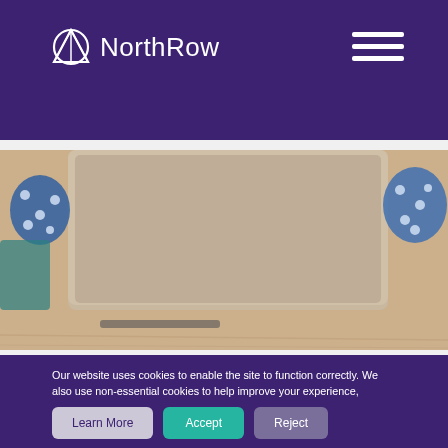NorthRow
[Figure (photo): Photograph of an open laptop on a wooden desk with polka-dot fabric visible in the background]
Our website uses cookies to enable the site to function correctly. We also use non-essential cookies to help improve your experience, including personalising content, providing social media features and to analyse how our site is used. You can accept or reject the use of cookies here.
Learn More | Accept | Reject